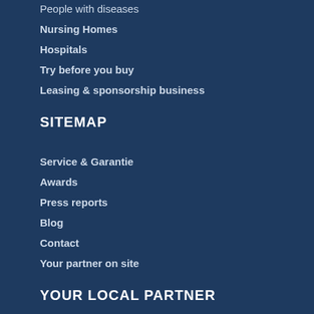People with diseases
Nursing Homes
Hospitals
Try before you buy
Leasing & sponsorship business
SITEMAP
Service & Garantie
Awards
Press reports
Blog
Contact
Your partner on site
YOUR LOCAL PARTNER
Deutschland
Schweiz